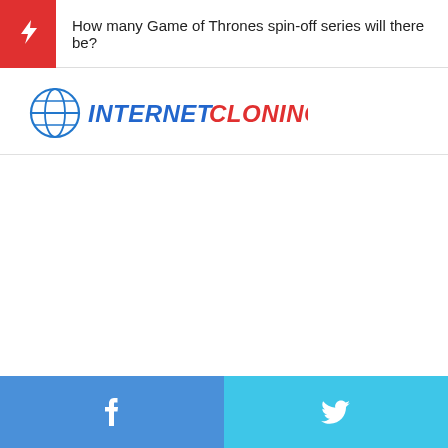How many Game of Thrones spin-off series will there be?
[Figure (logo): Internet Cloning logo with globe icon and stylized text INTERNET in blue and CLONING in red]
Facebook and Twitter share buttons